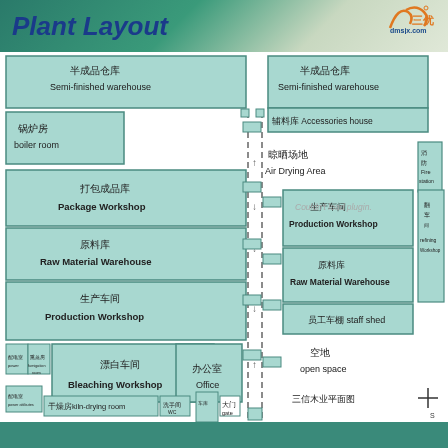Plant Layout
[Figure (engineering-diagram): Plant layout diagram of 三信木业 (Sanxin Wood Industry) showing floor plan with labeled rooms: Semi-finished warehouse (x2), Boiler room, Package Workshop, Raw Material Warehouse (x2), Production Workshop (x2), Bleaching Workshop, Office, Air Drying Area, Accessories house, Finishing/Turning Workshop, staff shed, fumigation room, power distribution room, kiln-drying room, WC, Guard room, gate, open space, fire station. Includes compass (south indicator) and company label 三信木业平面图.]